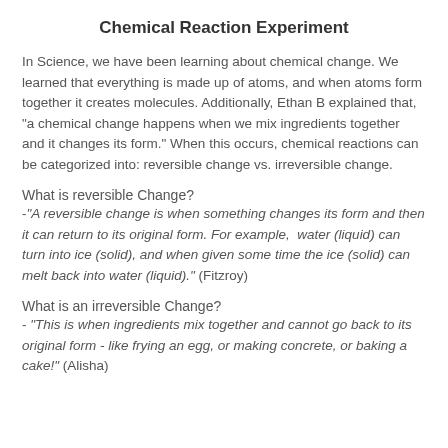Chemical Reaction Experiment
In Science, we have been learning about chemical change. We learned that everything is made up of atoms, and when atoms form together it creates molecules. Additionally, Ethan B explained that, "a chemical change happens when we mix ingredients together and it changes its form." When this occurs, chemical reactions can be categorized into: reversible change vs. irreversible change.
What is reversible Change?
-"A reversible change is when something changes its form and then it can return to its original form. For example,  water (liquid) can turn into ice (solid), and when given some time the ice (solid) can melt back into water (liquid)." (Fitzroy)
What is an irreversible Change?
- "This is when ingredients mix together and cannot go back to its original form - like frying an egg, or making concrete, or baking a cake!" (Alisha)